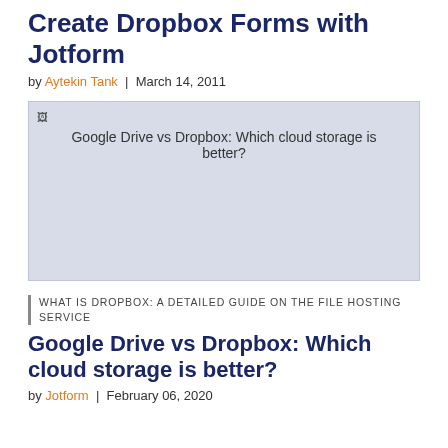Create Dropbox Forms with Jotform
by Aytekin Tank | March 14, 2011
[Figure (photo): Broken image placeholder with alt text: Google Drive vs Dropbox: Which cloud storage is better?]
WHAT IS DROPBOX: A DETAILED GUIDE ON THE FILE HOSTING SERVICE
Google Drive vs Dropbox: Which cloud storage is better?
by Jotform | February 06, 2020